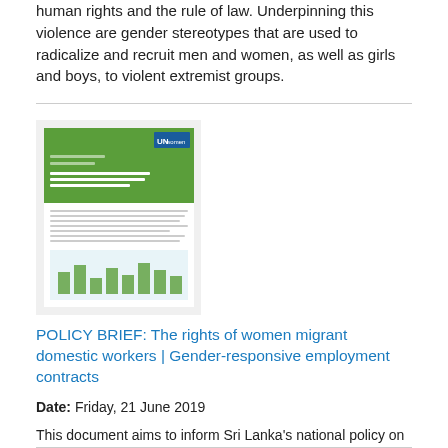human rights and the rule of law. Underpinning this violence are gender stereotypes that are used to radicalize and recruit men and women, as well as girls and boys, to violent extremist groups.
[Figure (illustration): Thumbnail cover image of a policy brief document with a green header and UN Women logo, showing text and a bar chart in the lower section.]
POLICY BRIEF: The rights of women migrant domestic workers | Gender-responsive employment contracts
Date: Friday, 21 June 2019
This document aims to inform Sri Lanka’s national policy on the protection of rights of women migrant domestic workers. Guided by normative commitments and international standards on gender equality and migrant labour rights, the document captures the concerns of a diverse set of stakeholders, including government officials, civil society representatives, and the most marginalized women migrant domestic workers.